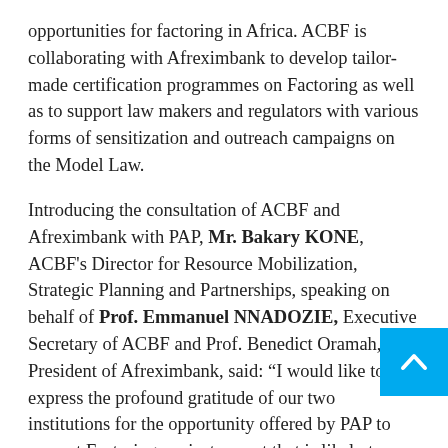opportunities for factoring in Africa. ACBF is collaborating with Afreximbank to develop tailor-made certification programmes on Factoring as well as to support law makers and regulators with various forms of sensitization and outreach campaigns on the Model Law.
Introducing the consultation of ACBF and Afreximbank with PAP, Mr. Bakary KONE, ACBF's Director for Resource Mobilization, Strategic Planning and Partnerships, speaking on behalf of Prof. Emmanuel NNADOZIE, Executive Secretary of ACBF and Prof. Benedict Oramah, President of Afreximbank, said: “I would like to express the profound gratitude of our two institutions for the opportunity offered by PAP to present Factoring, an instrument that is likely to significantly contribute to addressing trade finance challenges in Africa.”